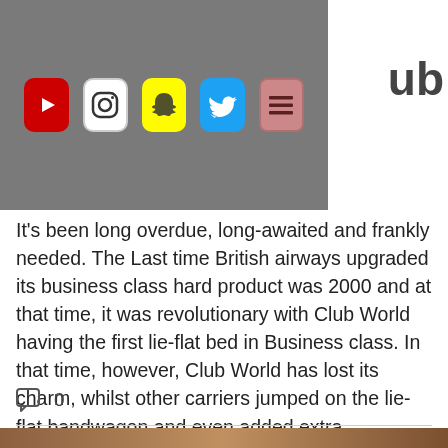[Figure (screenshot): Navigation bar with social media icons: YouTube (red), Instagram (white/grey), Snapchat (yellow), Twitter (blue), and a menu hamburger icon (pink/salmon). Partial text 'ub' visible to the right.]
It's been long overdue, long-awaited and frankly needed. The Last time British airways upgraded its business class hard product was 2000 and at that time, it was revolutionary with Club World having the first lie-flat bed in Business class. In that time, however, Club World has lost its charm, whilst other carriers jumped on the lie-flat bandwagon and even added extra improvements like privacy from every seat, BA stuck with its yin and yang styled business class, that is, unt
0